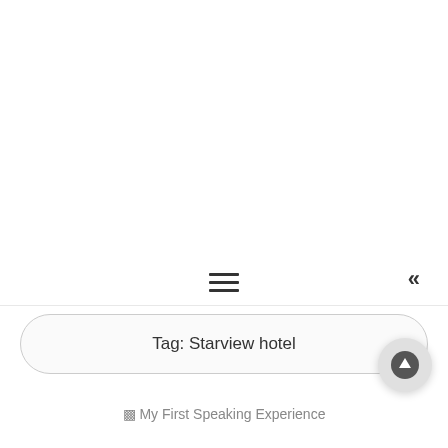Volume/Discount rates
[Figure (screenshot): Website screenshot showing a blog or informational site. Header with site title 'Volume/Discount rates' in large light gray text, small image icon top-left, subtitle text below. Hamburger menu icon centered and double chevron left icon on right side. A pill-shaped tag search bar reading 'Tag: Starview hotel'. A circular scroll-to-top button with up arrow. At bottom, a linked article image placeholder labeled 'My First Speaking Experience'.]
Tag: Starview hotel
My First Speaking Experience